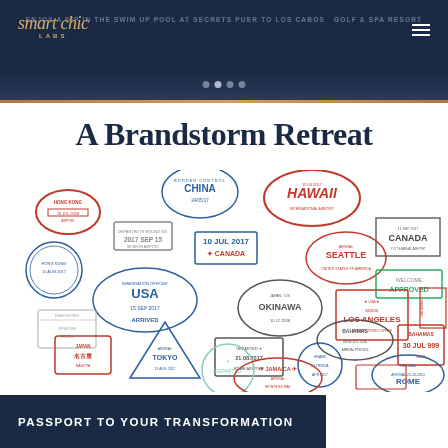ENJOY A DIP IN THE SWIM UP POOL AT SECRETS PUER TO LOS CABOS GOLF & SPA RESORT
A Brandstorm Retreat
[Figure (illustration): Collection of colorful travel passport stamps from various countries and cities including China, Hawaii, Canada, USA, Japan, Okinawa, Los Angeles, Tokyo, Bahamas, Jamaica, Rome, Milan, and others arranged in a scattered layout.]
PASSPORT TO YOUR TRANSFORMATION